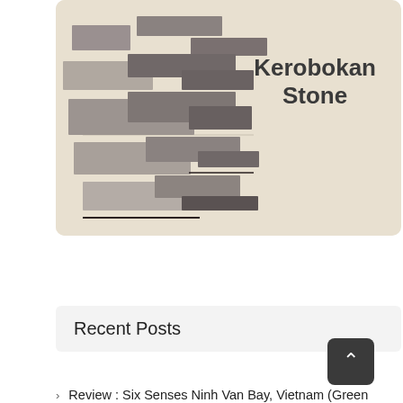[Figure (illustration): Decorative card with beige background showing overlapping stone/tile rectangles in various shades of gray-brown on the left, and text 'Kerobokan Stone' in bold dark font on the right.]
Recent Posts
Review : Six Senses Ninh Van Bay, Vietnam (Green Sukabumi Stone, White Palimanan Stone)
Review : Qunci Villas West Nusa Tenggara Lombok (Green Sukabumi Stone, White Palimanan Stone)